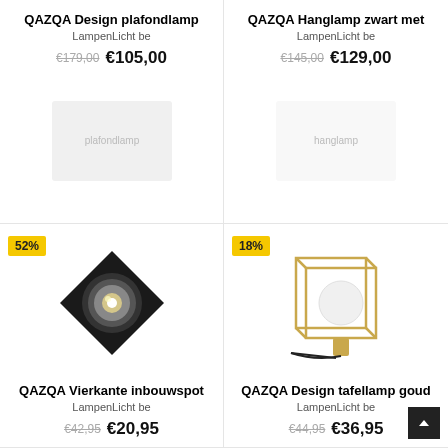QAZQA Design plafondlamp
LampenLicht be
€179,00  €105,00
[Figure (photo): Black square recessed spotlight with AR111 lamp, 52% discount badge]
QAZQA Vierkante inbouwspot
LampenLicht be
€42,95  €20,95
QAZQA Hanglamp zwart met
LampenLicht be
€145,00  €129,00
[Figure (photo): Gold cube frame table lamp with white globe bulb, 18% discount badge]
QAZQA Design tafellamp goud
LampenLicht be
€44,95  €36,95